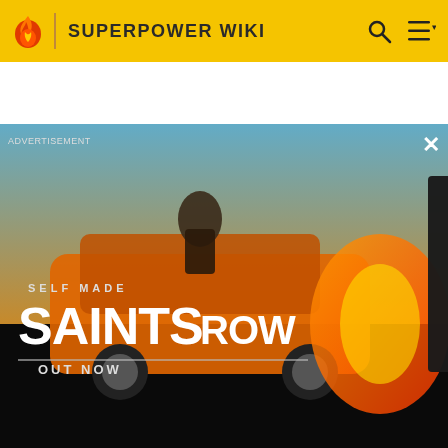SUPERPOWER WIKI
[Figure (screenshot): Advertisement overlay for Saints Row game — shows action scene with cars and characters, 'SELF MADE / SAINTS ROW / OUT NOW' text, with a secondary video panel showing Saints Row logo and a circular replay button]
[Figure (photo): Purple/pink blurry energy aura emanating from hands against purple background]
Aura's energy emission from one's body.
[Figure (screenshot): Animated character Danny Phantom with teal hair and orange outfit, looking distressed, caption reads 'And I won't let her down!']
[Figure (photo): Blue Diamond from Steven Universe — upper portion partially visible]
Blue Diamond (Steven Universz) make ther gems feel her sadnes
[Figure (illustration): Halo from Young Justice — animated character with pink/purple costume emitting rainbow-colored multi-colored aura rays in all directions]
Halo (Young Justice) has shown the ability to generate multi-colored auras, each with a different power